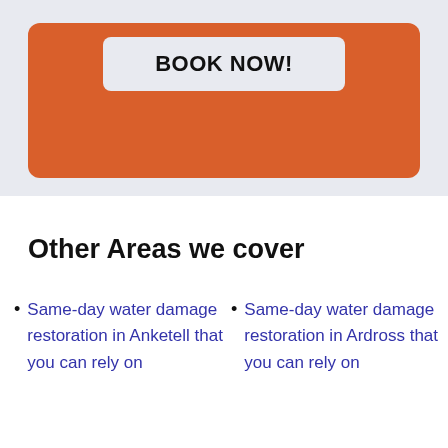[Figure (screenshot): Orange rounded rectangle box with a light grey 'BOOK NOW!' button at the top, set against a light blue-grey background]
Other Areas we cover
Same-day water damage restoration in Anketell that you can rely on
Same-day water damage restoration in Ardross that you can rely on